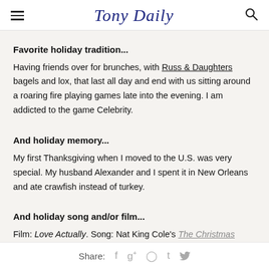Tony Daily
Favorite holiday tradition...
Having friends over for brunches, with Russ & Daughters bagels and lox, that last all day and end with us sitting around a roaring fire playing games late into the evening. I am addicted to the game Celebrity.
And holiday memory...
My first Thanksgiving when I moved to the U.S. was very special. My husband Alexander and I spent it in New Orleans and ate crawfish instead of turkey.
And holiday song and/or film...
Film: Love Actually. Song: Nat King Cole's The Christmas S...
Share: f g+ p t bird